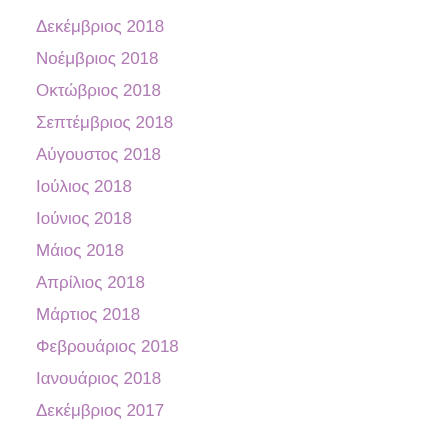Δεκέμβριος 2018
Νοέμβριος 2018
Οκτώβριος 2018
Σεπτέμβριος 2018
Αύγουστος 2018
Ιούλιος 2018
Ιούνιος 2018
Μάιος 2018
Απρίλιος 2018
Μάρτιος 2018
Φεβρουάριος 2018
Ιανουάριος 2018
Δεκέμβριος 2017